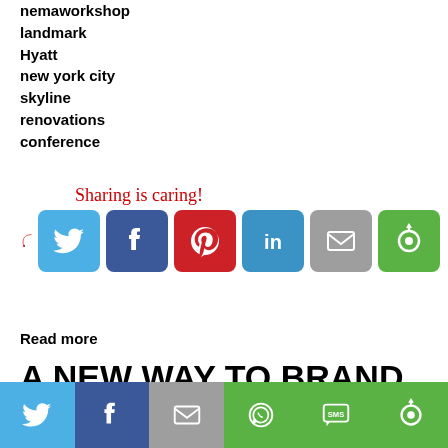nemaworkshop
landmark
Hyatt
new york city
skyline
renovations
conference
[Figure (infographic): Sharing is caring! text with arrow and social media share buttons: Twitter, Facebook, Pinterest, LinkedIn, Email, Other]
Read more
A NEW WAY TO BRAND BUSINESS MEETINGS AT THE OMNI DALLAS HOTEL
[Figure (infographic): Bottom share bar with Twitter, Facebook, Email, WhatsApp, SMS, Other buttons]